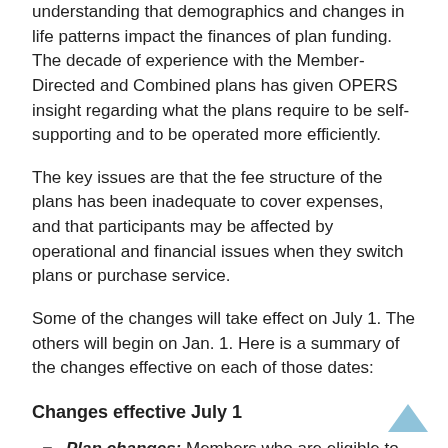understanding that demographics and changes in life patterns impact the finances of plan funding. The decade of experience with the Member-Directed and Combined plans has given OPERS insight regarding what the plans require to be self-supporting and to be operated more efficiently.
The key issues are that the fee structure of the plans has been inadequate to cover expenses, and that participants may be affected by operational and financial issues when they switch plans or purchase service.
Some of the changes will take effect on July 1. The others will begin on Jan. 1. Here is a summary of the changes effective on each of those dates:
Changes effective July 1
Plan changes: Members who are eligible to change from one OPERS retirement plan to another have been able to do so up to three times. That's being changed to one. So no matter how many plan changes members have made in